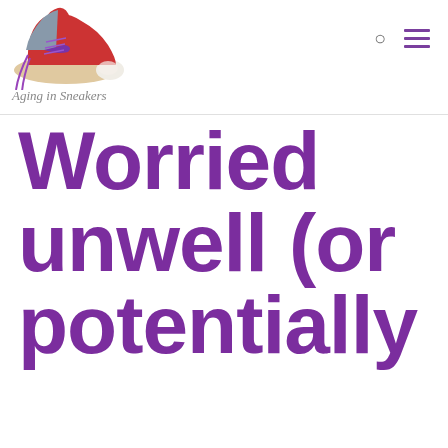Aging in Sneakers
Worried unwell (or potentially